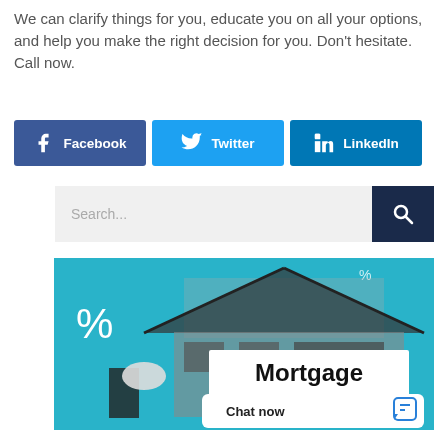We can clarify things for you, educate you on all your options, and help you make the right decision for you. Don't hesitate. Call now.
[Figure (other): Three social sharing buttons: Facebook (dark blue), Twitter (light blue), LinkedIn (blue)]
[Figure (other): Search bar with text input field and dark navy search icon button]
[Figure (photo): Mortgage promotional image with teal background showing a house roofline in black and white, percent signs, a hand holding a sign reading Mortgage, and a Chat now widget in the lower right corner]